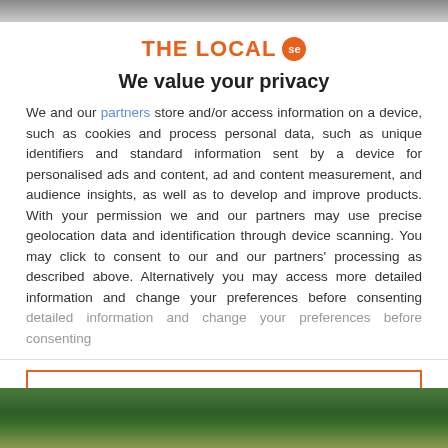[Figure (logo): The Local SE logo with orange text and orange circular badge with 'se']
We value your privacy
We and our partners store and/or access information on a device, such as cookies and process personal data, such as unique identifiers and standard information sent by a device for personalised ads and content, ad and content measurement, and audience insights, as well as to develop and improve products. With your permission we and our partners may use precise geolocation data and identification through device scanning. You may click to consent to our and our partners' processing as described above. Alternatively you may access more detailed information and change your preferences before consenting
ACCEPT
MORE OPTIONS